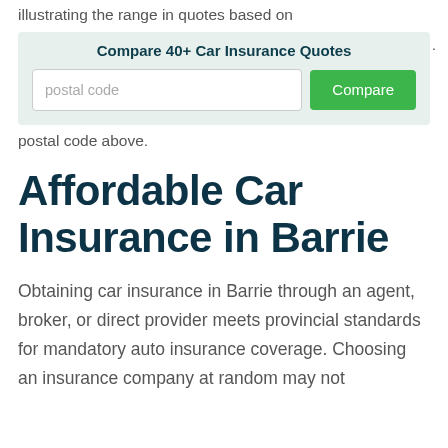illustrating the range in quotes based on
[Figure (infographic): A widget box with light blue-grey background containing the heading 'Compare 40+ Car Insurance Quotes', a postal code input field, and a green 'Compare' button.]
postal code above.
Affordable Car Insurance in Barrie
Obtaining car insurance in Barrie through an agent, broker, or direct provider meets provincial standards for mandatory auto insurance coverage. Choosing an insurance company at random may not